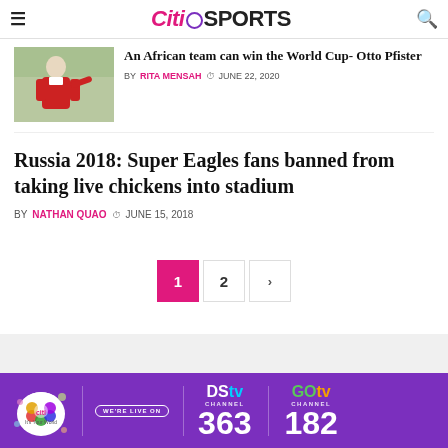Citi Sports
An African team can win the World Cup- Otto Pfister
BY RITA MENSAH  JUNE 22, 2020
Russia 2018: Super Eagles fans banned from taking live chickens into stadium
BY NATHAN QUAO  JUNE 15, 2018
[Figure (infographic): DStv Channel 363 and GOtv Channel 182 advertisement banner with Citi TV logo and WE'RE LIVE ON text]